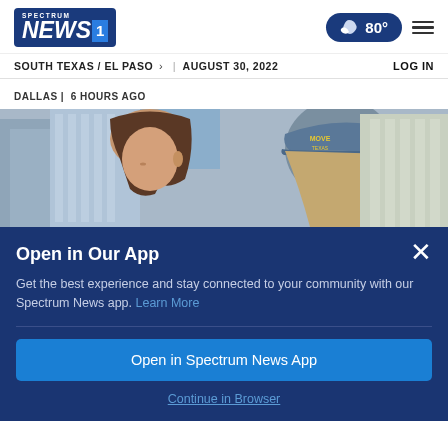Spectrum NEWS1 | 80° | menu
SOUTH TEXAS / EL PASO > | AUGUST 30, 2022   LOG IN
DALLAS | 6 HOURS AGO
[Figure (photo): Two women in an urban setting, one facing forward with brown hair, the other wearing a blue denim cap that reads 'MOVE Texas']
Open in Our App
Get the best experience and stay connected to your community with our Spectrum News app. Learn More
Open in Spectrum News App
Continue in Browser